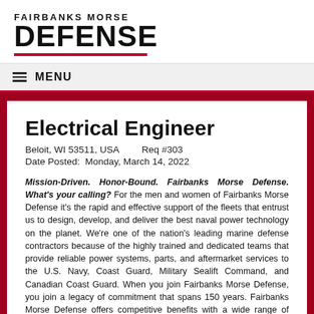[Figure (logo): Fairbanks Morse Defense logo with large bold DEFENSE text and red underline]
≡ MENU
Electrical Engineer
Beloit, WI 53511, USA    Req #303
Date Posted:  Monday, March 14, 2022
Mission-Driven. Honor-Bound. Fairbanks Morse Defense. What's your calling? For the men and women of Fairbanks Morse Defense it's the rapid and effective support of the fleets that entrust us to design, develop, and deliver the best naval power technology on the planet. We're one of the nation's leading marine defense contractors because of the highly trained and dedicated teams that provide reliable power systems, parts, and aftermarket services to the U.S. Navy, Coast Guard, Military Sealift Command, and Canadian Coast Guard. When you join Fairbanks Morse Defense, you join a legacy of commitment that spans 150 years. Fairbanks Morse Defense offers competitive benefits with a wide range of training and development opportunities. Our world-class teams are dedicated to helping every individual achieve their full potential. Discover what it's like to be a part of the Fairbanks Morse